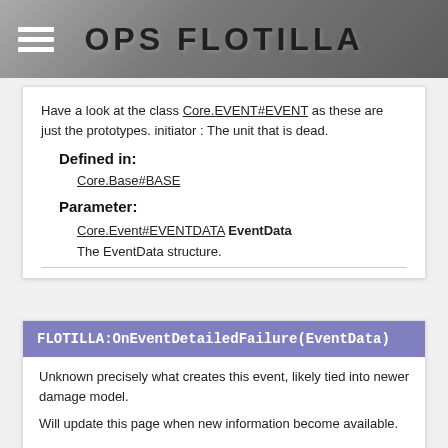OPS FLOTILLA
Have a look at the class Core.EVENT#EVENT as these are just the prototypes. initiator : The unit that is dead.
Defined in:
Core.Base#BASE
Parameter:
Core.Event#EVENTDATA EventData
The EventData structure.
FLOTILLA:OnEventDetailedFailure(EventData)
Unknown precisely what creates this event, likely tied into newer damage model.
Will update this page when new information become available.